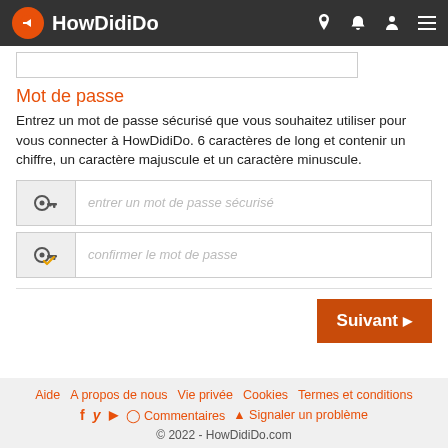HowDidiDo
Mot de passe
Entrez un mot de passe sécurisé que vous souhaitez utiliser pour vous connecter à HowDidiDo. 6 caractères de long et contenir un chiffre, un caractère majuscule et un caractère minuscule.
entrer un mot de passe sécurisé
confirmer le mot de passe
Suivant
Aide   A propos de nous   Vie privée   Cookies   Termes et conditions
Commentaires   Signaler un problème
© 2022 - HowDidiDo.com